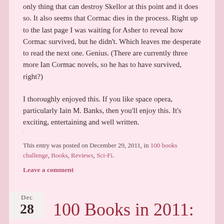only thing that can destroy Skellor at this point and it does so. It also seems that Cormac dies in the process. Right up to the last page I was waiting for Asher to reveal how Cormac survived, but he didn't. Which leaves me desperate to read the next one. Genius. (There are currently three more Ian Cormac novels, so he has to have survived, right?)
I thoroughly enjoyed this. If you like space opera, particularly Iain M. Banks, then you'll enjoy this. It's exciting, entertaining and well written.
This entry was posted on December 29, 2011, in 100 books challenge, Books, Reviews, Sci-Fi.
Leave a comment
[Figure (illustration): Decorative swirl/tilde divider]
Dec 28
100 Books in 2011: